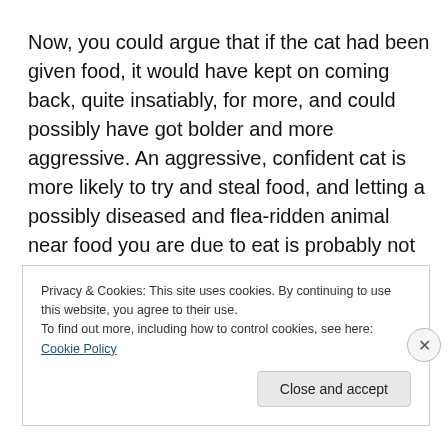Now, you could argue that if the cat had been given food, it would have kept on coming back, quite insatiably, for more, and could possibly have got bolder and more aggressive. An aggressive, confident cat is more likely to try and steal food, and letting a possibly diseased and flea-ridden animal near food you are due to eat is probably not in the best interests of hygiene. You could argue that offering food is just going to encourage other cats to come
Privacy & Cookies: This site uses cookies. By continuing to use this website, you agree to their use.
To find out more, including how to control cookies, see here: Cookie Policy
Close and accept